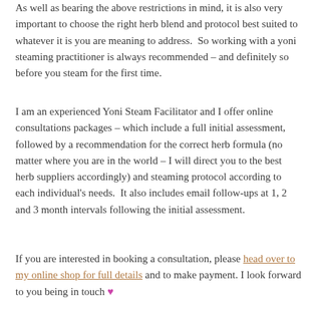As well as bearing the above restrictions in mind, it is also very important to choose the right herb blend and protocol best suited to whatever it is you are meaning to address.  So working with a yoni steaming practitioner is always recommended – and definitely so before you steam for the first time.
I am an experienced Yoni Steam Facilitator and I offer online consultations packages – which include a full initial assessment, followed by a recommendation for the correct herb formula (no matter where you are in the world – I will direct you to the best herb suppliers accordingly) and steaming protocol according to each individual's needs.  It also includes email follow-ups at 1, 2 and 3 month intervals following the initial assessment.
If you are interested in booking a consultation, please head over to my online shop for full details and to make payment. I look forward to you being in touch ♥